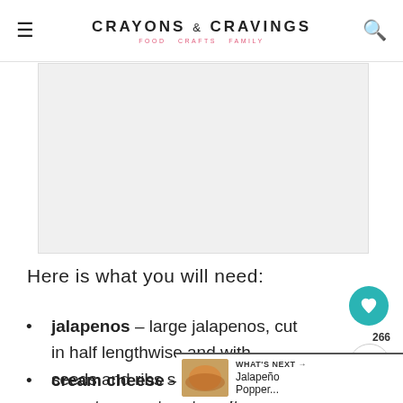CRAYONS & CRAVINGS — FOOD CRAFTS FAMILY
[Figure (photo): Placeholder image area, light gray rectangle]
Here is what you will need:
jalapenos – large jalapenos, cut in half lengthwise and with seeds and ribs scooped o…
cream cheese – left out at room temperature to soften…